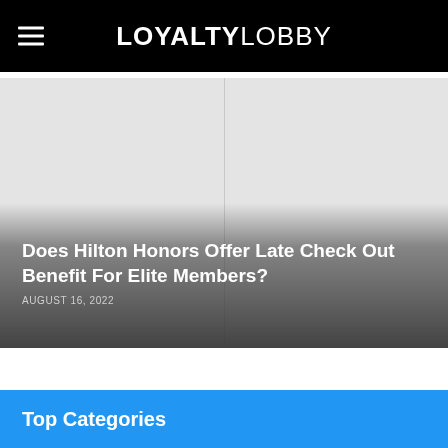LOYALTYLOBBY
[Figure (photo): Gray placeholder hero image with two panels divided by a vertical line, overlaid with dark gradient at bottom]
Does Hilton Honors Offer Late Check Out Benefit For Elite Members?
AUGUST 16, 2022
Top Categories